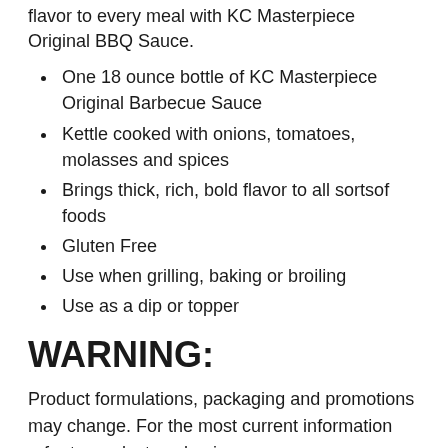flavor to every meal with KC Masterpiece Original BBQ Sauce.
One 18 ounce bottle of KC Masterpiece Original Barbecue Sauce
Kettle cooked with onions, tomatoes, molasses and spices
Brings thick, rich, bold flavor to all sortsof foods
Gluten Free
Use when grilling, baking or broiling
Use as a dip or topper
WARNING:
Product formulations, packaging and promotions may change. For the most current information refer to product packaging.